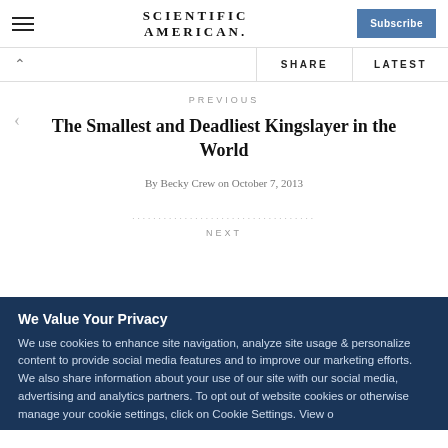SCIENTIFIC AMERICAN
PREVIOUS
The Smallest and Deadliest Kingslayer in the World
By Becky Crew on October 7, 2013
We Value Your Privacy
We use cookies to enhance site navigation, analyze site usage & personalize content to provide social media features and to improve our marketing efforts. We also share information about your use of our site with our social media, advertising and analytics partners. To opt out of website cookies or otherwise manage your cookie settings, click on Cookie Settings. View our